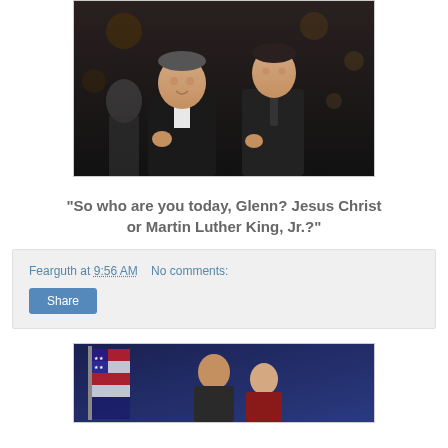[Figure (photo): Two men in dark formal tuxedos/suits at what appears to be a formal dinner or gala event, facing each other and conversing.]
"So who are you today, Glenn? Jesus Christ or Martin Luther King, Jr.?"
Fearguth at 9:56 AM   No comments:
[Figure (photo): Two people posing in front of an American flag at what appears to be a formal event.]